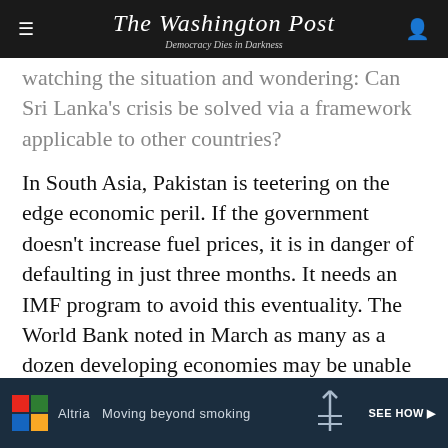The Washington Post
Democracy Dies in Darkness
watching the situation and wondering: Can Sri Lanka’s crisis be solved via a framework applicable to other countries?
In South Asia, Pakistan is teetering on the edge economic peril. If the government doesn’t increase fuel prices, it is in danger of defaulting in just three months. It needs an IMF program to avoid this eventuality. The World Bank noted in March as many as a dozen developing economies may be unable to service their debt in the next year. The biggest challenge for these nations, it says, is sovereign debt restructuring, just like Sri Lanka.
[Figure (infographic): Altria advertisement banner: 'Moving beyond smoking' with SEE HOW button and colorful logo on dark blue background]